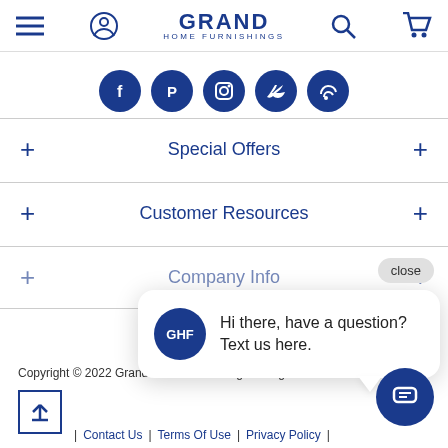Grand Home Furnishings - Navigation header with menu, account, search, and cart icons
[Figure (logo): Grand Home Furnishings logo with hamburger menu, user icon, search icon, and cart icon]
[Figure (infographic): Social media icons row: Facebook, Pinterest, Instagram, Twitter, Blog - all dark blue circles with white icons]
+ Special Offers +
+ Customer Resources +
+ Company Info +
[Figure (screenshot): Chat popup bubble with GHF logo saying: Hi there, have a question? Text us here. With close button and chat circle button.]
Hi there, have a question? Text us here.
Copyright © 2022 Grand Home Furnishings. All rights reserved.
Contact Us | Terms Of Use | Privacy Policy